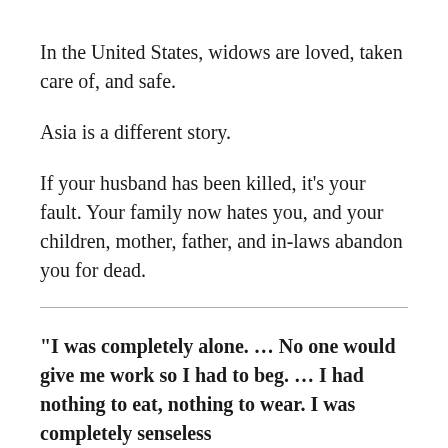In the United States, widows are loved, taken care of, and safe.
Asia is a different story.
If your husband has been killed, it’s your fault. Your family now hates you, and your children, mother, father, and in-laws abandon you for dead.
“I was completely alone. … No one would give me work so I had to beg. … I had nothing to eat, nothing to wear. I was completely senseless and it didn’t mean anything.”